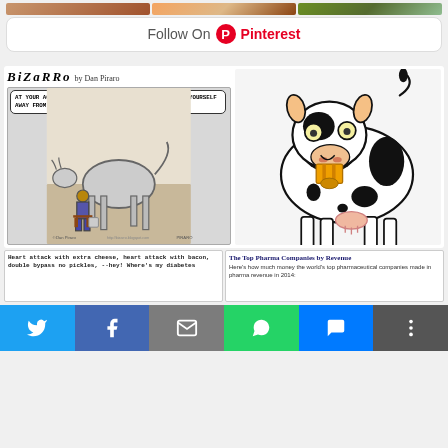[Figure (photo): Row of food/lifestyle photos strip at top of Pinterest card]
Follow On Pinterest
[Figure (illustration): Bizarro comic by Dan Piraro: black and white cartoon of a person milking a cow, with speech bubble reading 'AT YOUR AGE, SHOULDN'T YOU BE THINKING OF WEENING YOURSELF AWAY FROM THIS AND ONTO SOLID FOOD?']
[Figure (illustration): Colorful cartoon drawing of a black and white dairy cow with yellow bell around neck, wide yellow eyes, and curly horns]
Heart attack with extra cheese, heart attack with bacon, double bypass no pickles, --hey! Where's my diabetes
The Top Pharma Companies by Revenue
Here's how much money the world's top pharmaceutical companies made in pharma revenue in 2014:
[Figure (other): Social sharing bar with Twitter, Facebook, Email, WhatsApp, SMS, and More buttons]